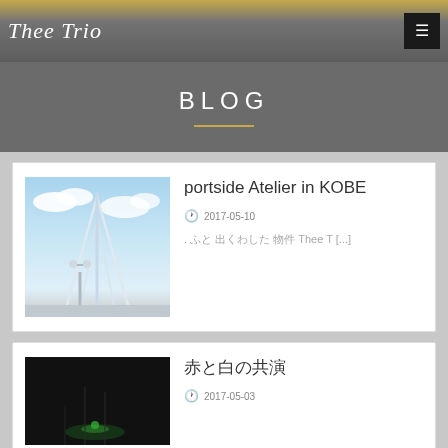Thee Trio
BLOG
portside Atelier in KOBE
2017-05-10
. ふと 出くわした 物件 Thee T [...]
赤と白の共演
2017-05-03